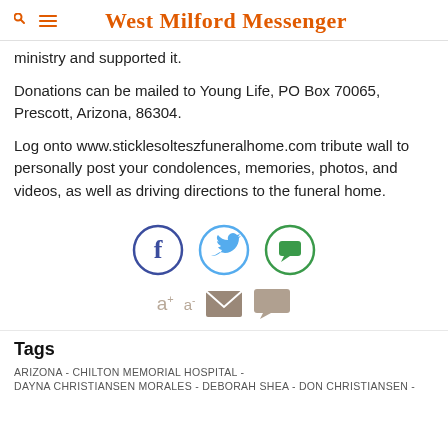West Milford Messenger
ministry and supported it.
Donations can be mailed to Young Life, PO Box 70065, Prescott, Arizona, 86304.
Log onto www.sticklesolteszfuneralhome.com tribute wall to personally post your condolences, memories, photos, and videos, as well as driving directions to the funeral home.
[Figure (infographic): Social sharing icons: Facebook (dark blue circle with f), Twitter (light blue circle with bird), and a green circle with chat bubble icon. Below: font size controls (a+ a-), email icon, and comment icon.]
Tags
ARIZONA - CHILTON MEMORIAL HOSPITAL -
DAYNA CHRISTIANSEN MORALES - DEBORAH SHEA - DON CHRISTIANSEN -